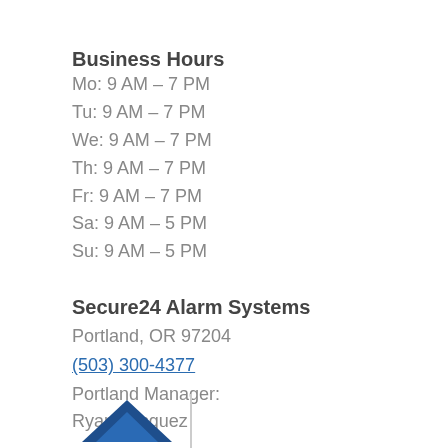Business Hours
Mo: 9 AM – 7 PM
Tu: 9 AM – 7 PM
We: 9 AM – 7 PM
Th: 9 AM – 7 PM
Fr: 9 AM – 7 PM
Sa: 9 AM – 5 PM
Su: 9 AM – 5 PM
Secure24 Alarm Systems
Portland, OR 97204
(503) 300-4377
Portland Manager:
Ryan Vasquez
[Figure (logo): Secure24 Alarm Systems logo — blue house/roof graphic with vertical divider line]